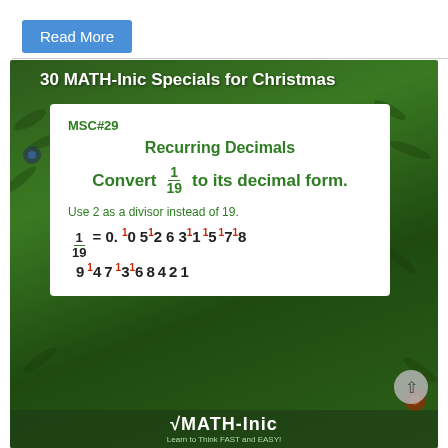Read More
[Figure (illustration): Christmas themed math card with pine tree background showing MSC#29 Recurring Decimals problem: Convert 1/19 to its decimal form, with step-by-step decimal expansion showing 0.052631578947368421 using divisor 2 instead of 19, with carry digits shown in red.]
√MATH-Inic